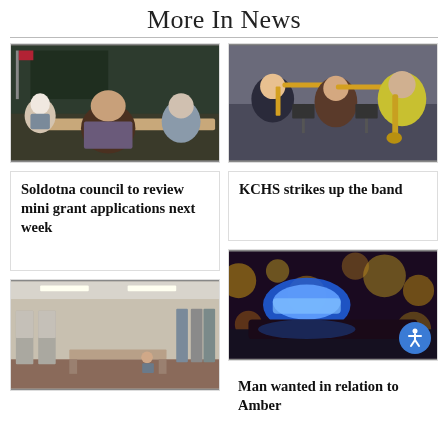More In News
[Figure (photo): People sitting around a conference table in a meeting room, viewed from behind, with a large screen or map on the wall.]
Soldotna council to review mini grant applications next week
[Figure (photo): Three high school students playing brass instruments — trombone, trombone, and saxophone — in a band performance setting.]
KCHS strikes up the band
[Figure (photo): Empty room with voting booths set up along the walls and tables in the center.]
[Figure (photo): Close-up of a police car's blue flashing light at night with bokeh lights in the background.]
Man wanted in relation to Amber